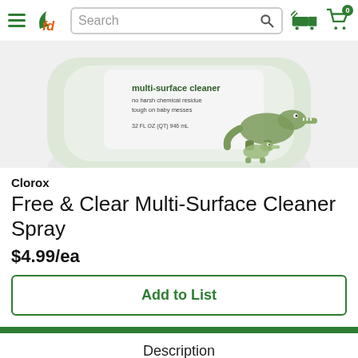fd - Search bar - delivery icon - cart 0
[Figure (photo): Clorox Free & Clear Multi-Surface Cleaner Spray bottle with crocodile illustration, labeled multi-surface cleaner, no harsh chemical residue, tough on baby messes, 32 FL OZ (QT) 946 mL]
Clorox
Free & Clear Multi-Surface Cleaner Spray
$4.99/ea
Add to List
Description